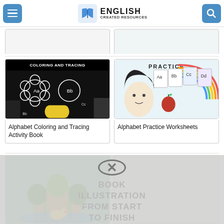English Created Resources — navigation bar with menu and search buttons
Alphabet Flashcards For Kids  en Beginning Writers
[Figure (screenshot): Alphabet Coloring and Tracing Activity Book cover image — black and white coloring pages with flower letter bubbles and cartoon children]
Alphabet Coloring and Tracing Activity Book
[Figure (screenshot): Alphabet Practice Worksheets cover image — cartoon girl with alphabet practice cards showing letters A, B, C, D with apple]
Alphabet Practice Worksheets
[Figure (screenshot): Overlay error: No compatible source for this media — Book Illustration From Start To Finish by SelfpublishedWHIZ, www.selfpublishedwhiz.com]